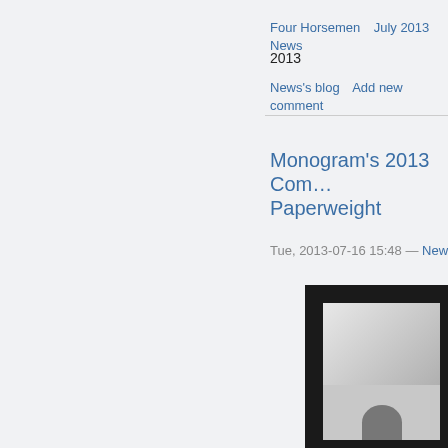Four Horsemen   July 2013 News
2013
News's blog   Add new comment
Monogram's 2013 Com... Paperweight
Tue, 2013-07-16 15:48 — News
[Figure (photo): A framed paperweight or award displayed in a black frame with a silver/chrome decorative object inside, partially visible]